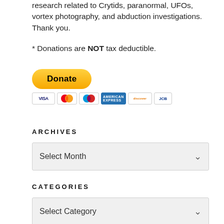research related to Crytids, paranormal, UFOs, vortex photography, and abduction investigations. Thank you.
* Donations are NOT tax deductible.
[Figure (other): PayPal Donate button with payment card logos (Visa, Mastercard, Maestro, American Express, Discover, JCB)]
ARCHIVES
[Figure (other): Dropdown select box with placeholder text 'Select Month' and a down arrow]
CATEGORIES
[Figure (other): Dropdown select box with placeholder text 'Select Category' and a down arrow]